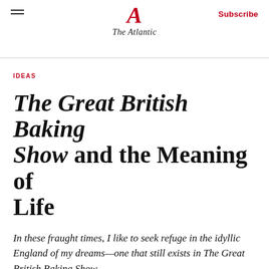The Atlantic
IDEAS
The Great British Baking Show and the Meaning of Life
In these fraught times, I like to seek refuge in the idyllic England of my dreams—one that still exists in The Great British Baking Show.
By Eliot A. Cohen